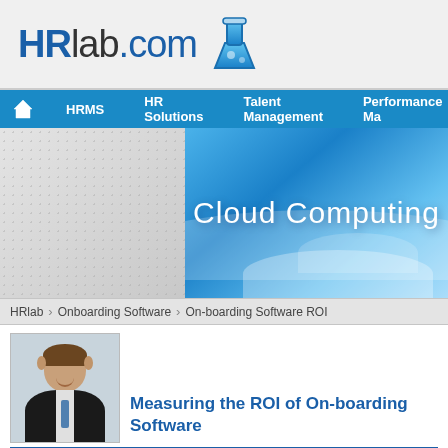HRlab.com
HRMS | HR Solutions | Talent Management | Performance Ma...
[Figure (screenshot): HRlab.com website banner with left grey dotted panel and right blue 'Cloud Computing' panel]
HRlab › Onboarding Software › On-boarding Software ROI
[Figure (photo): Headshot photo of a man in a dark suit smiling]
Measuring the ROI of On-boarding Software
By Dave Foxall
Building the Business Case for On-boarding Software
With the war for talent in full swing, and turnover for some industries at an al... on-boarding software to tighten up their procedures for new hires—and for g... more than a fifth of employee turnover occurs within 45 days of taking up a n... structured on-boarding program can make a clear difference in that turnover... companies leveraging on-boarding technology close to 60% higher than thei... would argue that these turnover statistics are alarming, of concern is the fac...